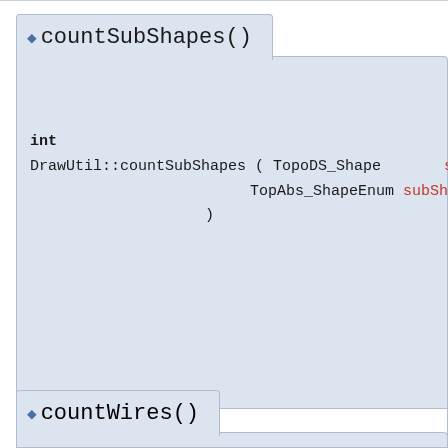◆ countSubShapes()
int
DrawUtil::countSubShapes ( TopoDS_Shape      shape,
                           TopAbs_ShapeEnum  subShap
                         )
Referenced by TechDraw::DrawViewDetail::detailExec().
◆ countWires()